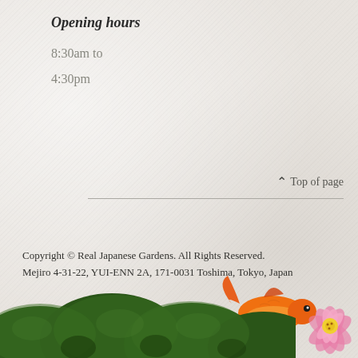Opening hours
8:30am to
4:30pm
⌃ Top of page
Copyright © Real Japanese Gardens. All Rights Reserved.
Mejiro 4-31-22, YUI-ENN 2A, 171-0031 Toshima, Tokyo, Japan
[Figure (illustration): Goldfish swimming, orange-red colored fish illustration]
[Figure (photo): Dark green rounded topiary bush at bottom of page]
[Figure (illustration): Pink lotus flower at bottom right corner]